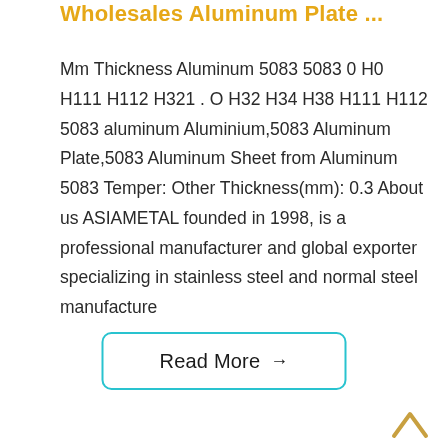Wholesales Aluminum Plate ...
Mm Thickness Aluminum 5083 5083 0 H0 H111 H112 H321 . O H32 H34 H38 H111 H112 5083 aluminum Aluminium,5083 Aluminum Plate,5083 Aluminum Sheet from Aluminum 5083 Temper: Other Thickness(mm): 0.3 About us ASIAMETAL founded in 1998, is a professional manufacturer and global exporter specializing in stainless steel and normal steel manufacture
Read More →